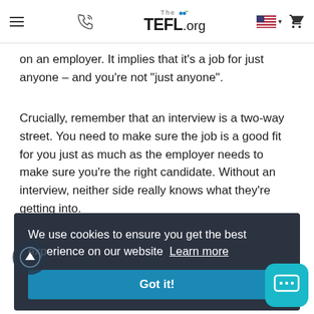The TEFL.org
on an employer. It implies that it's a job for just anyone – and you're not "just anyone".
Crucially, remember that an interview is a two-way street. You need to make sure the job is a good fit for you just as much as the employer needs to make sure you're the right candidate. Without an interview, neither side really knows what they're getting into.
We use cookies to ensure you get the best experience on our website  Learn more
Got it!
course. There's often at least a degree of